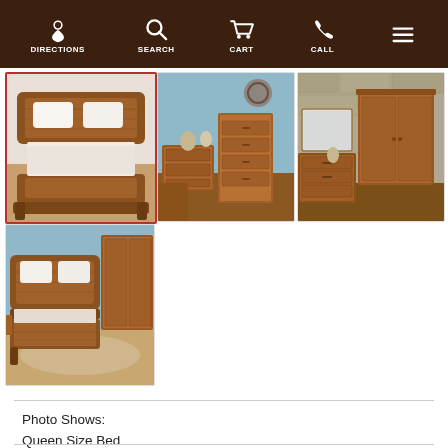DIRECTIONS  SEARCH  CART  CALL
[Figure (photo): Selected thumbnail: wooden sleigh bed with white bedding, red border active selection]
[Figure (photo): Thumbnail: bedroom dresser and chest in cherry wood with chestnut stain, blue wall]
[Figure (photo): Thumbnail: wooden wardrobe/armoire with dresser in bedroom setting]
[Figure (photo): Thumbnail: side view of sleigh bed with wooden wardrobe in background]
Photo Shows:
Queen Size Bed
Character Cherry Wood with Chestnut Stain